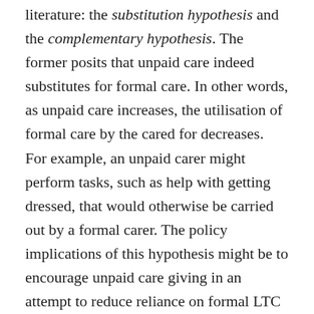literature: the substitution hypothesis and the complementary hypothesis. The former posits that unpaid care indeed substitutes for formal care. In other words, as unpaid care increases, the utilisation of formal care by the cared for decreases. For example, an unpaid carer might perform tasks, such as help with getting dressed, that would otherwise be carried out by a formal carer. The policy implications of this hypothesis might be to encourage unpaid care giving in an attempt to reduce reliance on formal LTC services provided by the government (Bremer et al., 2017). In contrast, the complementary hypothesis suggests that unpaid and formal care are positively related. As unpaid care rises, so does the use of formal care services by the cared for. This might be because unpaid carers act as